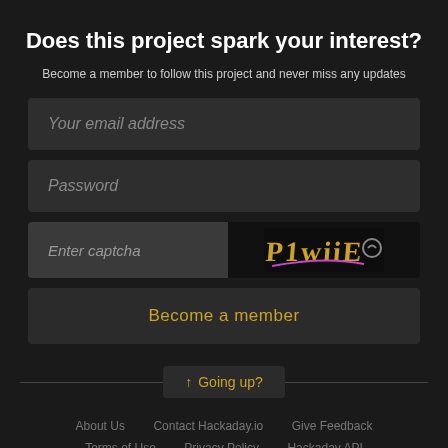Does this project spark your interest?
Become a member to follow this project and never miss any updates
[Figure (screenshot): Web form with email, password, captcha fields and a 'Become a member' button on a dark background]
↑ Going up?
About Us   Contact Hackaday.io   Give Feedback   Terms of Use   Privacy Policy   Hackaday API